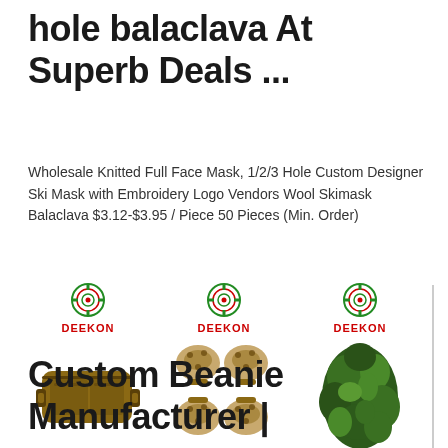hole balaclava At Superb Deals ...
Wholesale Knitted Full Face Mask, 1/2/3 Hole Custom Designer Ski Mask with Embroidery Logo Vendors Wool Skimask Balaclava $3.12-$3.95 / Piece 50 Pieces (Min. Order)
[Figure (photo): Three product images each with DEEKON logo: 1) tan tactical waist/fanny pack, 2) camouflage knee and elbow pads set (4 pieces), 3) green leafy camouflage net/ghillie material]
Custom Beanie Manufacturer |